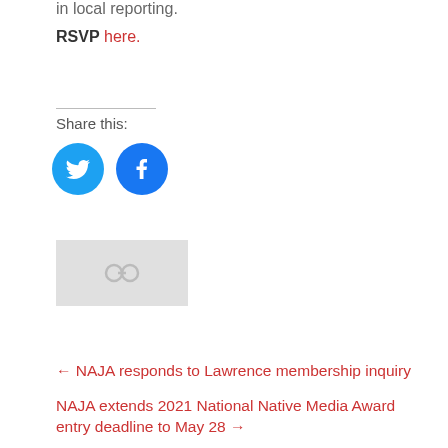in local reporting.
RSVP here.
Share this:
[Figure (illustration): Twitter and Facebook social share buttons as blue circles with white icons]
[Figure (illustration): Gray placeholder image with chain/link icon]
← NAJA responds to Lawrence membership inquiry
NAJA extends 2021 National Native Media Award entry deadline to May 28 →